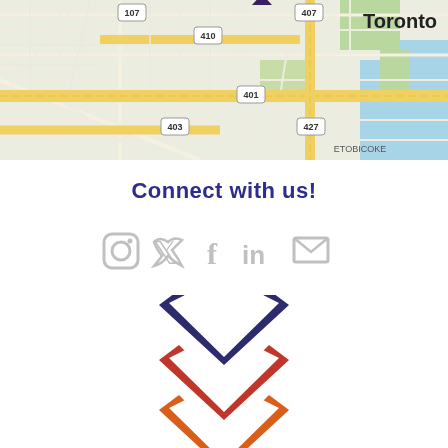[Figure (map): Street map showing Toronto area with highway markers 107, 410, 407, 401, 427, 403, Etobicoke label, and a location pin marker. The map shows an urban street grid with major highways highlighted in yellow.]
Connect with us!
[Figure (infographic): Social media icons in light gray: Instagram, Twitter, Facebook, LinkedIn, and email envelope icons arranged horizontally.]
[Figure (logo): Three stacked chevron/arrow shapes pointing upward. Top chevron is dark navy/indigo, middle chevron is red/crimson, bottom chevron is orange-red. Forms a logo with triple chevron motif.]